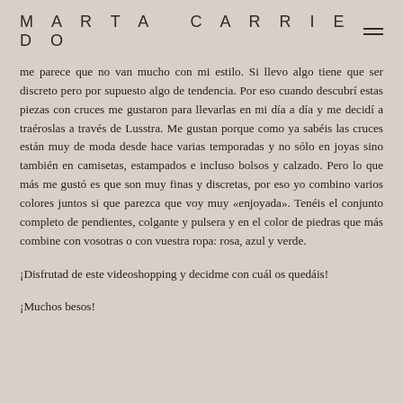MARTA CARRIEDO
me parece que no van mucho con mi estilo. Si llevo algo tiene que ser discreto pero por supuesto algo de tendencia. Por eso cuando descubrí estas piezas con cruces me gustaron para llevarlas en mi día a día y me decidí a traéroslas a través de Lusstra. Me gustan porque como ya sabéis las cruces están muy de moda desde hace varias temporadas y no sólo en joyas sino también en camisetas, estampados e incluso bolsos y calzado. Pero lo que más me gustó es que son muy finas y discretas, por eso yo combino varios colores juntos si que parezca que voy muy «enjoyada». Tenéis el conjunto completo de pendientes, colgante y pulsera y en el color de piedras que más combine con vosotras o con vuestra ropa: rosa, azul y verde.
¡Disfrutad de este videoshopping y decidme con cuál os quedáis!
¡Muchos besos!